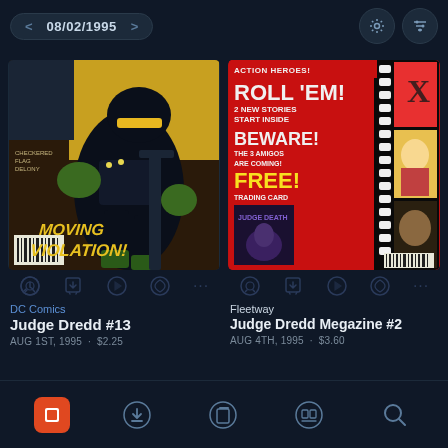08/02/1995
[Figure (photo): Comic book cover: Judge Dredd #13 by DC Comics. Character in black armor suit. Text: MOVING VIOLATION!]
DC Comics
Judge Dredd #13
AUG 1ST, 1995 · $2.25
[Figure (photo): Comic book cover: Judge Dredd Megazine #2 by Fleetway. Red cover with film strip imagery. Text: ACTION HEROES! ROLL 'EM! 2 NEW STORIES START INSIDE BEWARE! THE 3 AMIGOS ARE COMING! FREE! TRADING CARD JUDGE DEATH]
Fleetway
Judge Dredd Megazine #2
AUG 4TH, 1995 · $3.60